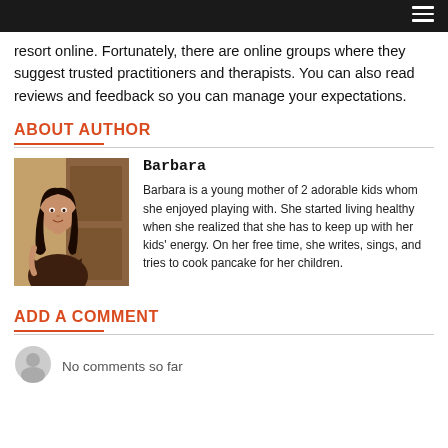resort online. Fortunately, there are online groups where they suggest trusted practitioners and therapists. You can also read reviews and feedback so you can manage your expectations.
ABOUT AUTHOR
[Figure (photo): Photo of author Barbara, a young woman with long dark hair wearing a dark dress, standing indoors]
Barbara

Barbara is a young mother of 2 adorable kids whom she enjoyed playing with. She started living healthy when she realized that she has to keep up with her kids' energy. On her free time, she writes, sings, and tries to cook pancake for her children.
ADD A COMMENT
No comments so far